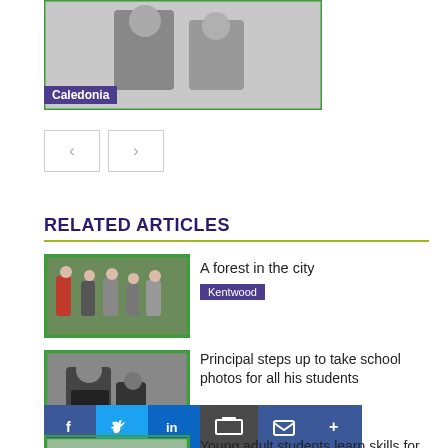[Figure (photo): Photo of two people (Caledonia) with green border]
Caledonia
[Figure (other): Navigation arrows (previous/next)]
RELATED ARTICLES
[Figure (photo): Group of children in a forest outdoors]
A forest in the city
Kentwood
[Figure (photo): Principal with students, school photos]
Principal steps up to take school photos for all his students
[Figure (other): Social share bar: Facebook, Twitter, LinkedIn, Print, Email, More]
[Figure (photo): Young adult students]
Young adult students learn skills for work